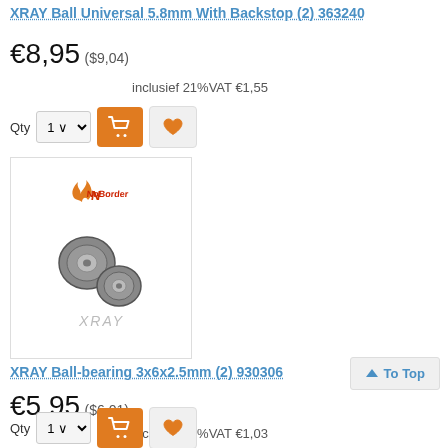XRAY Ball Universal 5.8mm With Backstop (2) 363240
€8,95 ($9,04)
inclusief 21%VAT €1,55
[Figure (photo): Product image of XRAY ball bearings, two small metal ball bearings shown with NoBorder logo and XRAY branding]
XRAY Ball-bearing 3x6x2.5mm (2) 930306
€5,95 ($6,01)
inclusief 21%VAT €1,03